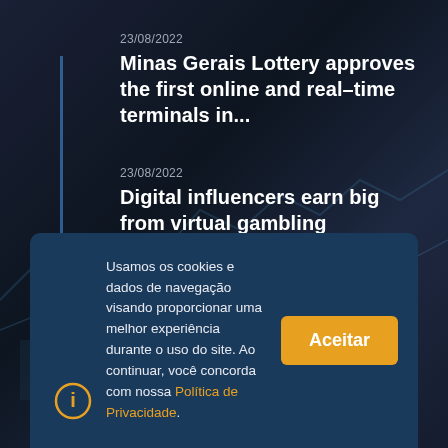23/08/2022
Minas Gerais Lottery approves the first online and real-time terminals in...
23/08/2022
Digital influencers earn big from virtual gambling advertising
23/08/2022
Sportradar closes agreement with the International Golf Federation
Usamos os cookies e dados de navegação visando proporcionar uma melhor experiência durante o uso do site. Ao continuar, você concorda com nossa Política de Privacidade.